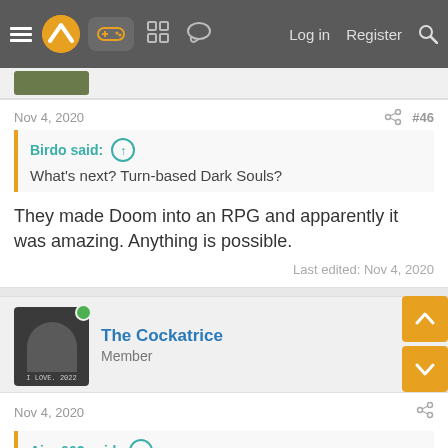Navigation bar with hamburger, logo, gamepad icon, grid icon, chat icon, Log in, Register, Search
Nov 4, 2020  #46
Birdo said: ↑
What's next? Turn-based Dark Souls?
They made Doom into an RPG and apparently it was amazing. Anything is possible.
Last edited: Nov 4, 2020
[Figure (photo): Avatar of The Cockatrice with green online indicator dot]
The Cockatrice
Member
Nov 4, 2020
Aion002 said: ↑
[Figure (photo): Partial image visible at bottom of page, appears to be a game screenshot]